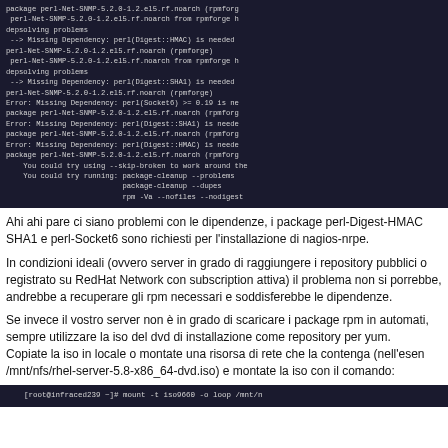[Figure (screenshot): Terminal output showing RPM dependency errors for perl-Net-SNMP package with suggestions to use --skip-broken and package-cleanup commands]
Ahi ahi pare ci siano problemi con le dipendenze, i package perl-Digest-HMAC SHA1 e perl-Socket6 sono richiesti per l'installazione di nagios-nrpe.
In condizioni ideali (ovvero server in grado di raggiungere i repository pubblici o registrato su RedHat Network con subscription attiva) il problema non si porrebbe, andrebbe a recuperare gli rpm necessari e soddisferebbe le dipendenze.
Se invece il vostro server non è in grado di scaricare i package rpm in automatico, sempre utilizzare la iso del dvd di installazione come repository per yum. Copiate la iso in locale o montate una risorsa di rete che la contenga (nell'esemp /mnt/nfs/rhel-server-5.8-x86_64-dvd.iso) e montate la iso con il comando:
[Figure (screenshot): Terminal command: [root@infraced239 ~]# mount -t iso9660 -o loop /mnt/n]